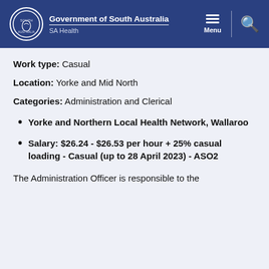Government of South Australia — SA Health
Work type: Casual
Location: Yorke and Mid North
Categories: Administration and Clerical
Yorke and Northern Local Health Network, Wallaroo
Salary: $26.24 - $26.53 per hour + 25% casual loading - Casual (up to 28 April 2023) - ASO2
The Administration Officer is responsible to the